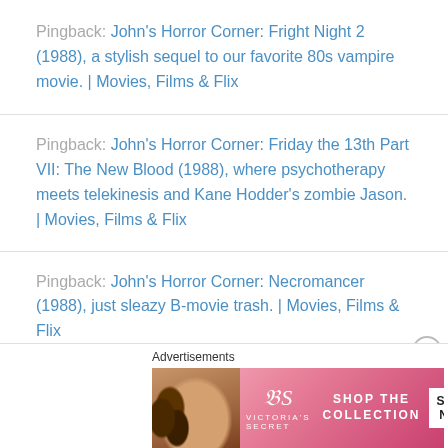Pingback: John's Horror Corner: Fright Night 2 (1988), a stylish sequel to our favorite 80s vampire movie. | Movies, Films & Flix
Pingback: John's Horror Corner: Friday the 13th Part VII: The New Blood (1988), where psychotherapy meets telekinesis and Kane Hodder's zombie Jason. | Movies, Films & Flix
Pingback: John's Horror Corner: Necromancer (1988), just sleazy B-movie trash. | Movies, Films & Flix
[Figure (advertisement): Victoria's Secret advertisement banner with model, VS logo, 'SHOP THE COLLECTION' text and 'SHOP NOW' button]